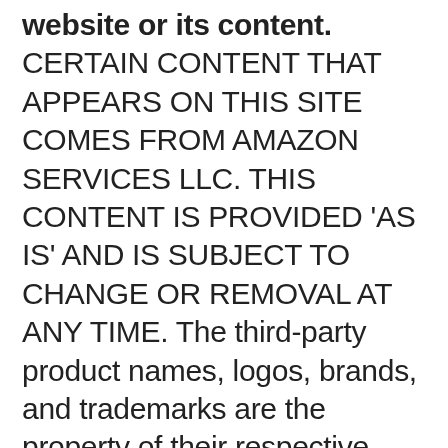website or its content. CERTAIN CONTENT THAT APPEARS ON THIS SITE COMES FROM AMAZON SERVICES LLC. THIS CONTENT IS PROVIDED 'AS IS' AND IS SUBJECT TO CHANGE OR REMOVAL AT ANY TIME. The third-party product names, logos, brands, and trademarks are the property of their respective owners and not affiliated with freestuff.cafe. These parties not support, sponsor or endorse this website or its content, or services.